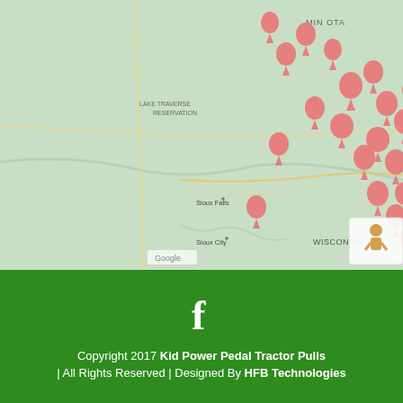[Figure (map): Google Maps view showing numerous red location pin markers clustered over the Midwest United States (Minnesota, Wisconsin, Iowa, South Dakota region). Visible labels include Lake Traverse Reservation, MINNESOTA, WISCONSIN, Sioux Falls, Sioux City, Cedar Rapids, Madison, Eau Claire, Appleton. Multiple red map pins are densely clustered in the Minnesota/Wisconsin/Iowa corridor. Map data ©2022 Google. A street view pegman icon is visible in the bottom right.]
[Figure (logo): Facebook 'f' logo icon in white on green background]
Copyright 2017 Kid Power Pedal Tractor Pulls | All Rights Reserved | Designed By HFB Technologies